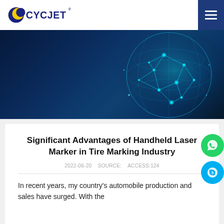CYCJET
[Figure (illustration): Dark blue background hero banner with a glowing digital globe/network visualization in teal and blue tones, representing global connectivity]
Significant Advantages of Handheld Laser Marker in Tire Marking Industry
2022-06-20   SOURCE:    ACCESS:124
In recent years, my country's automobile production and sales have surged. With the